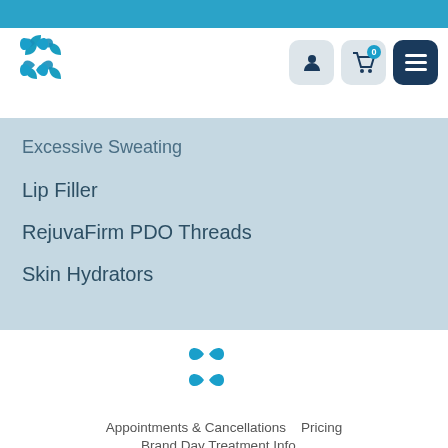[Figure (logo): Medical spa brand logo in teal/blue, four curved petal shapes arranged in a 2x2 grid forming a flower-like symbol]
[Figure (infographic): Navigation icons: person/user icon in light grey button, shopping cart with badge '0' in light grey button, hamburger menu icon in dark blue button]
Excessive Sweating
Lip Filler
RejuvaFirm PDO Threads
Skin Hydrators
[Figure (logo): Same teal medical spa logo, larger, centered in footer area]
Appointments & Cancellations    Pricing
Brand Day Treatment Info...